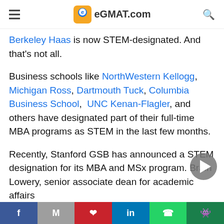eGMAT.com
Berkeley Haas is now STEM-designated. And that's not all.
Business schools like NorthWestern Kellogg, Michigan Ross, Dartmouth Tuck, Columbia Business School, UNC Kenan-Flagler, and others have designated part of their full-time MBA programs as STEM in the last few months.
Recently, Stanford GSB has announced a STEM designation for its MBA and MSx program. Brain Lowery, senior associate dean for academic affairs